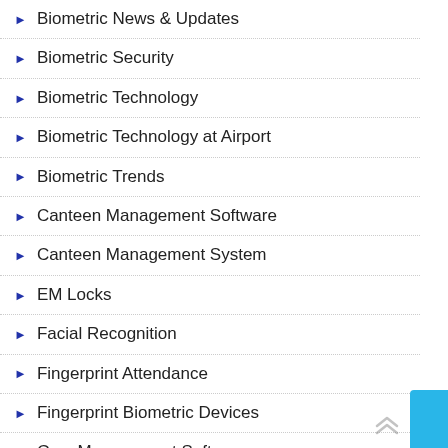Biometric News & Updates
Biometric Security
Biometric Technology
Biometric Technology at Airport
Biometric Trends
Canteen Management Software
Canteen Management System
EM Locks
Facial Recognition
Fingerprint Attendance
Fingerprint Biometric Devices
Gym Management Software
GYM Management System
HR Management Software
HRMS Software